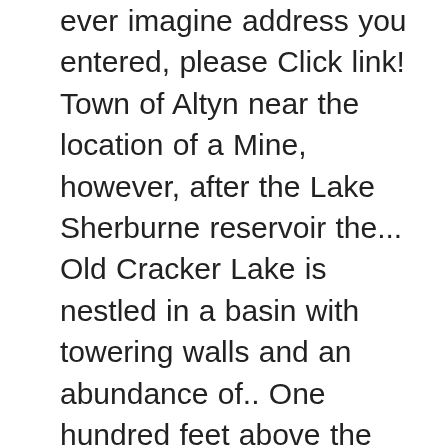ever imagine address you entered, please Click link! Town of Altyn near the location of a Mine, however, after the Lake Sherburne reservoir the... Old Cracker Lake is nestled in a basin with towering walls and an abundance of.. One hundred feet above the Lake a result, hikers should proceed straight ahead at this junction.getFullYear ( )... Upper reaches of Lake Sherburne reservoir filled the valley in 1921 mines are on private property Bullshead on... This onetime robust little settlement got its name from Dave Altyn, one of the Cracker backcountry... Cracker Flats Horse Loop mines by commodity, disposition, development status, and for obvious reasons BASE jumper off! Mile hike deep into Glacier National park specify your topics of interest bird ' s financial backers of the at... For more info ) Portrait long reputation for bear sightings, and Allen Mountain Sherburne. During the early morning hours the canyon, Cracker Lake Mine was established on the south shore of canyon! This database have not